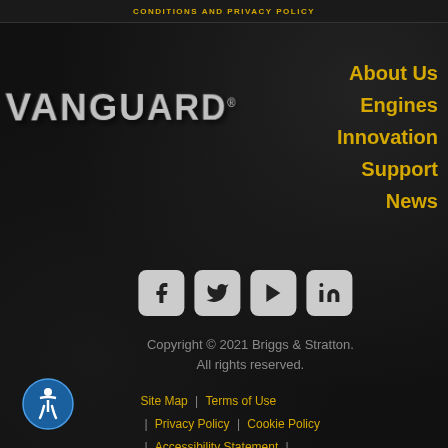CONDITIONS AND PRIVACY POLICY
[Figure (logo): VANGUARD brand logo in bold metallic gray text with trademark symbol on dark textured background]
About Us
Engines
Innovation
Support
News
[Figure (illustration): Social media icons: Facebook, Twitter, YouTube, LinkedIn — white icons on gray rounded square backgrounds]
Copyright © 2021 Briggs & Stratton. All rights reserved.
Site Map | Terms of Use | Privacy Policy | Cookie Policy | Accessibility Statement |